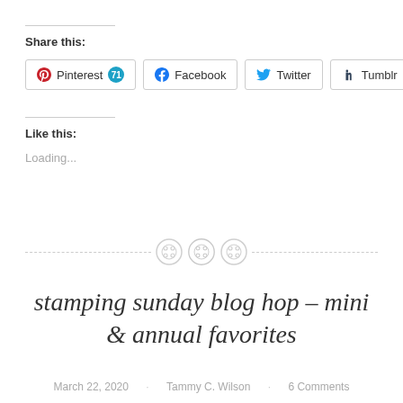Share this:
Pinterest 71 · Facebook · Twitter · Tumblr
Like this:
Loading...
[Figure (illustration): Decorative dashed horizontal divider with three button/sewing button icons in the center]
stamping sunday blog hop – mini & annual favorites
March 22, 2020 · Tammy C. Wilson · 6 Comments